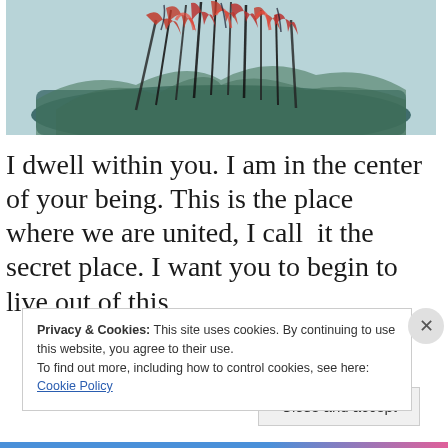[Figure (illustration): Abstract painting/artwork showing red and dark brush strokes over teal/green washes, resembling tall grasses or flames rising from a dark base, watercolor style]
I dwell within you. I am in the center of your being. This is the place where we are united, I call  it the secret place. I want you to begin to live out of this
Privacy & Cookies: This site uses cookies. By continuing to use this website, you agree to their use.
To find out more, including how to control cookies, see here:
Cookie Policy
Close and accept